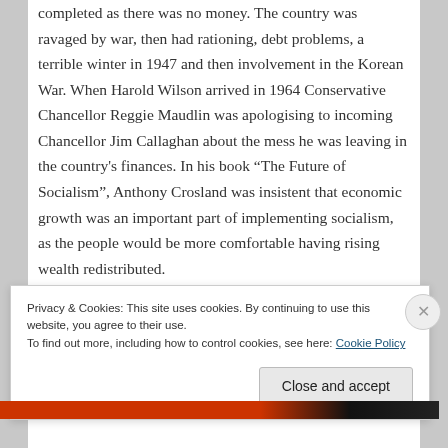completed as there was no money. The country was ravaged by war, then had rationing, debt problems, a terrible winter in 1947 and then involvement in the Korean War. When Harold Wilson arrived in 1964 Conservative Chancellor Reggie Maudlin was apologising to incoming Chancellor Jim Callaghan about the mess he was leaving in the country's finances. In his book “The Future of Socialism”, Anthony Crosland was insistent that economic growth was an important part of implementing socialism, as the people would be more comfortable having rising wealth redistributed.
Privacy & Cookies: This site uses cookies. By continuing to use this website, you agree to their use.
To find out more, including how to control cookies, see here: Cookie Policy